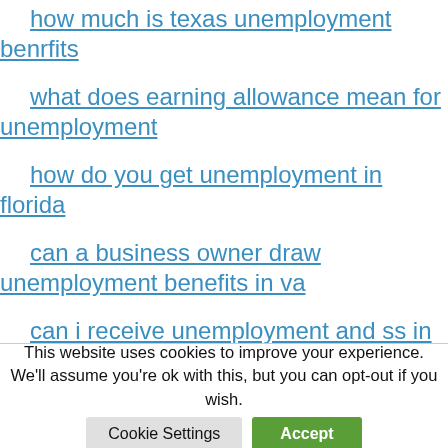how much is texas unemployment benrfits
what does earning allowance mean for unemployment
how do you get unemployment in florida
can a business owner draw unemployment benefits in va
can i receive unemployment and ss in connecticut at the same time.
This website uses cookies to improve your experience. We'll assume you're ok with this, but you can opt-out if you wish.